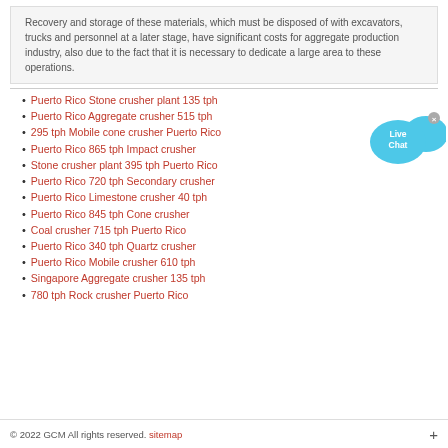Recovery and storage of these materials, which must be disposed of with excavators, trucks and personnel at a later stage, have significant costs for aggregate production industry, also due to the fact that it is necessary to dedicate a large area to these operations.
Puerto Rico Stone crusher plant 135 tph
Puerto Rico Aggregate crusher 515 tph
295 tph Mobile cone crusher Puerto Rico
Puerto Rico 865 tph Impact crusher
Stone crusher plant 395 tph Puerto Rico
Puerto Rico 720 tph Secondary crusher
Puerto Rico Limestone crusher 40 tph
Puerto Rico 845 tph Cone crusher
Coal crusher 715 tph Puerto Rico
Puerto Rico 340 tph Quartz crusher
Puerto Rico Mobile crusher 610 tph
Singapore Aggregate crusher 135 tph
780 tph Rock crusher Puerto Rico
[Figure (illustration): Live Chat bubble icon with blue chat balloon and fish-shaped tail, with a close X button]
© 2022 GCM All rights reserved. sitemap +